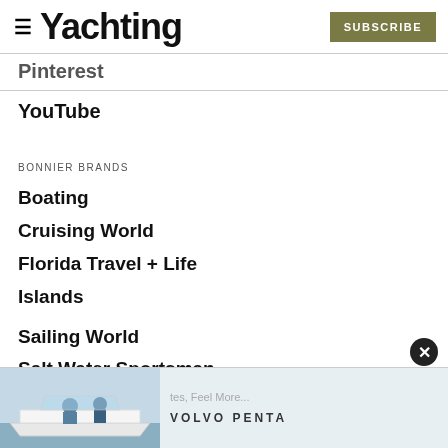≡ Yachting  SUBSCRIBE
Pinterest
YouTube
BONNIER BRANDS
Boating
Cruising World
Florida Travel + Life
Islands
Marlin
Sailing World
Salt Water Sportsman
Sport...
Wakeboarding
[Figure (photo): Advertisement overlay showing people on a boat with Volvo Penta branding]